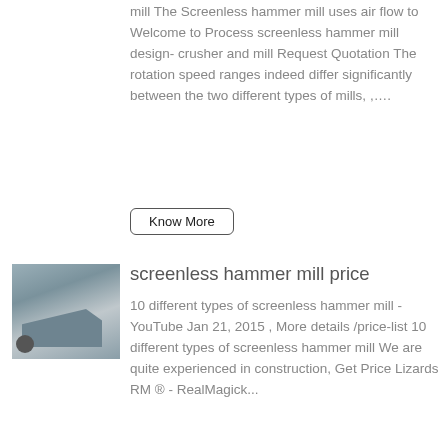mill The Screenless hammer mill uses air flow to Welcome to Process screenless hammer mill design- crusher and mill Request Quotation The rotation speed ranges indeed differ significantly between the two different types of mills, ,….
Know More
[Figure (photo): Photo of a screenless hammer mill machine, metallic gray construction on wheels]
screenless hammer mill price
10 different types of screenless hammer mill - YouTube Jan 21, 2015 , More details /price-list 10 different types of screenless hammer mill We are quite experienced in construction, Get Price Lizards RM ® - RealMagick...